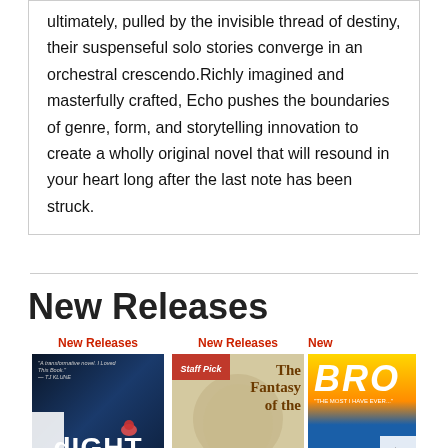ultimately, pulled by the invisible thread of destiny, their suspenseful solo stories converge in an orchestral crescendo.Richly imagined and masterfully crafted, Echo pushes the boundaries of genre, form, and storytelling innovation to create a wholly original novel that will resound in your heart long after the last note has been struck.
New Releases
New Releases
[Figure (photo): Book cover 1 - dark blue cover with quote 'A transformative novel. I Loved This Book.' -TJ KLUNE and title LIGHT at bottom]
New Releases
[Figure (photo): Book cover 2 - Staff Pick ribbon, title The Fantasy of the...]
New
[Figure (photo): Book cover 3 - BRO title, partially visible, right-side navigation arrow]